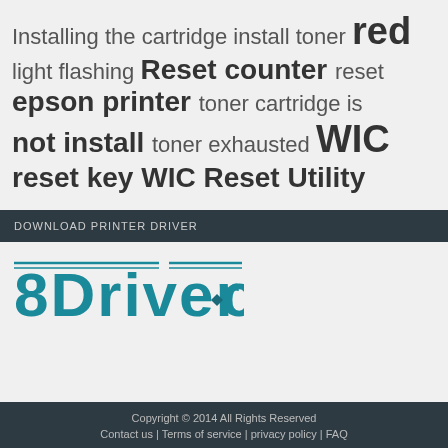Installing the cartridge install toner red light flashing Reset counter reset epson printer toner cartridge is not install toner exhausted WIC reset key WIC Reset Utility
DOWNLOAD PRINTER DRIVER
[Figure (logo): 8Driver.com logo in teal/blue pixel-style font]
Copyright © 2014 All Rights Reserved
Contact us | Terms of service | privacy policy | FAQ